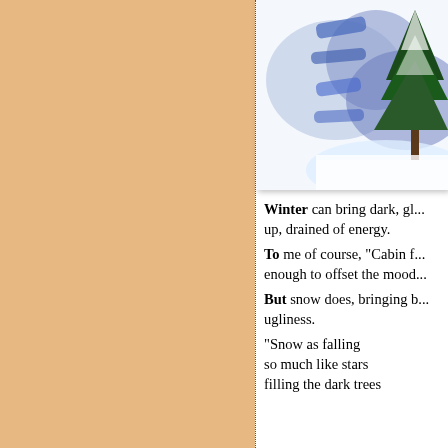[Figure (illustration): Watercolor-style painting of a snow-covered evergreen tree with blue and white tones]
Winter can bring dark, gl... up, drained of energy.
To me of course, "Cabin f... enough to offset the mood...
But snow does, bringing b... ugliness.
"Snow as falling
so much like stars
filling the dark trees